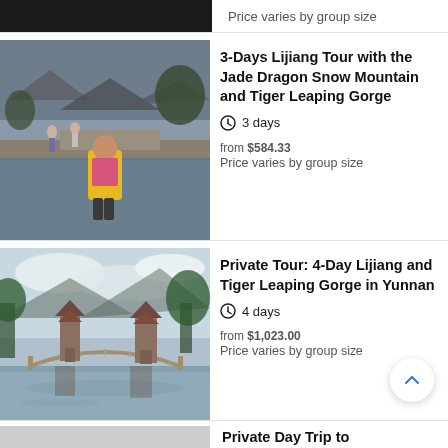Price varies by group size
[Figure (photo): Child in yellow jacket standing near a water channel in Lijiang old town, China]
3-Days Lijiang Tour with the Jade Dragon Snow Mountain and Tiger Leaping Gorge
3 days
from $584.33
Price varies by group size
[Figure (photo): Scenic view of a pagoda and arched bridge reflected in a calm lake in Lijiang, Yunnan]
Private Tour: 4-Day Lijiang and Tiger Leaping Gorge in Yunnan
4 days
from $1,023.00
Price varies by group size
Private Day Trip to